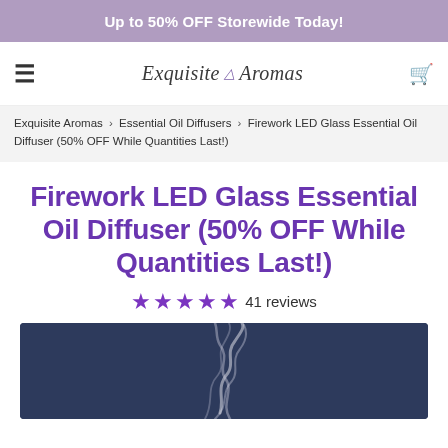Up to 50% OFF Storewide Today!
[Figure (logo): Exquisite Aromas logo with hamburger menu and cart icon]
Exquisite Aromas > Essential Oil Diffusers > Firework LED Glass Essential Oil Diffuser (50% OFF While Quantities Last!)
Firework LED Glass Essential Oil Diffuser (50% OFF While Quantities Last!)
★★★★★ 41 reviews
[Figure (photo): Product photo showing smoke/mist curling against a dark navy blue background]